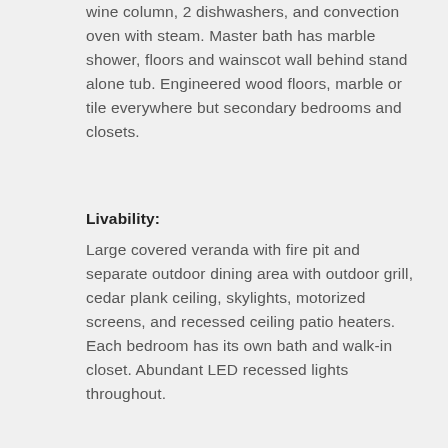wine column, 2 dishwashers, and convection oven with steam. Master bath has marble shower, floors and wainscot wall behind stand alone tub. Engineered wood floors, marble or tile everywhere but secondary bedrooms and closets.
Livability:
Large covered veranda with fire pit and separate outdoor dining area with outdoor grill, cedar plank ceiling, skylights, motorized screens, and recessed ceiling patio heaters. Each bedroom has its own bath and walk-in closet. Abundant LED recessed lights throughout.